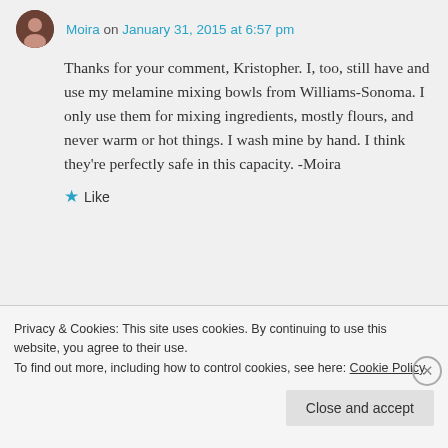Moira on January 31, 2015 at 6:57 pm
Thanks for your comment, Kristopher. I, too, still have and use my melamine mixing bowls from Williams-Sonoma. I only use them for mixing ingredients, mostly flours, and never warm or hot things. I wash mine by hand. I think they’re perfectly safe in this capacity. -Moira
★ Like
Privacy & Cookies: This site uses cookies. By continuing to use this website, you agree to their use.
To find out more, including how to control cookies, see here: Cookie Policy
Close and accept